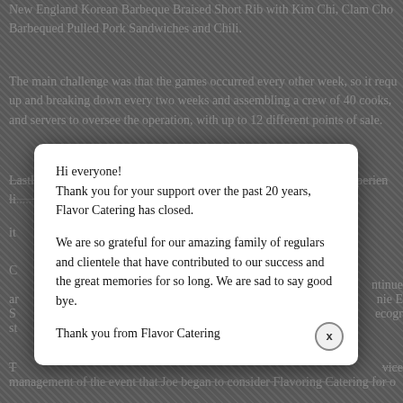New England Korean Barbeque Braised Short Rib with Kim Chi, Clam Chowder, Barbequed Pulled Pork Sandwiches and Chili.
The main challenge was that the games occurred every other week, so it required setting up and breaking down every two weeks and assembling a crew of 40 cooks, and servers to oversee the operation, with up to 12 different points of sale.
Lastly, there is no kitchen facility, just storage space. Our catering experience... of C... it... continue... and... nie E... S... ecogr... st...
T... vice... management of the event that Joe began to consider Flavoring Catering for o...
That dialogue between Flavor Catering and Athletics continued through our Football Office in the Campbell Sports Center at the Baker Athletics Complex. Catering proposed a full schedule of on-site team meals, during training camp during the season.
Hi everyone!
Thank you for your support over the past 20 years, Flavor Catering has closed.

We are so grateful for our amazing family of regulars and clientele that have contributed to our success and the great memories for so long. We are sad to say good bye.

Thank you from Flavor Catering